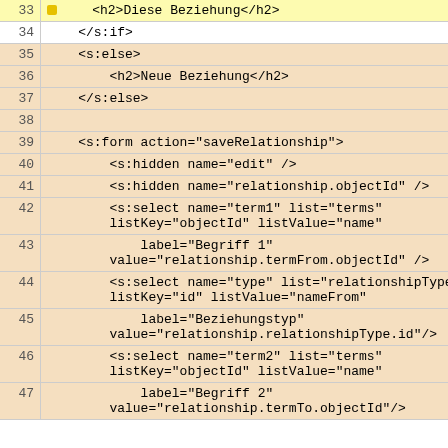[Figure (screenshot): Code editor view showing XML/template lines 33-47 with line numbers on the left and syntax-highlighted code on tan/peach and yellow backgrounds.]